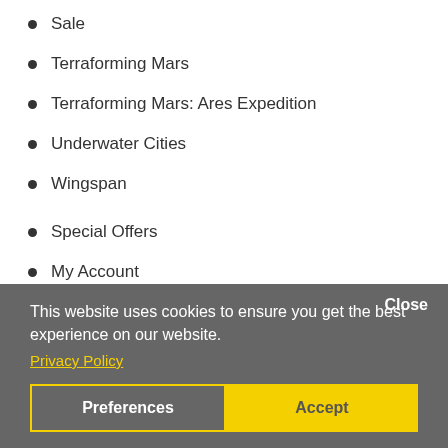Sale
Terraforming Mars
Terraforming Mars: Ares Expedition
Underwater Cities
Wingspan
Special Offers
My Account
Account Information
Password
Address Book
Order History
Downloads
Close
This website uses cookies to ensure you get the best experience on our website.
Privacy Policy
Preferences
Accept